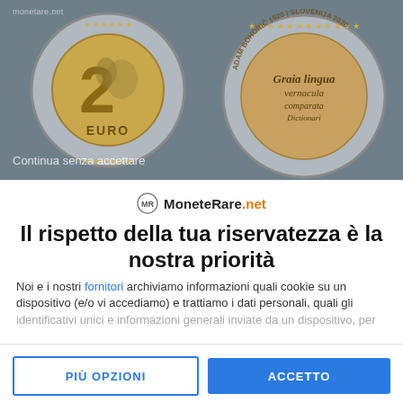[Figure (photo): Background image showing two euro coins on a grey background. Left coin shows the common side with the number 2 and EURO text. Right coin shows a commemorative reverse. Watermark text 'monetare.net' visible top left. Text 'Continua senza accettare' visible bottom left.]
Il rispetto della tua riservatezza è la nostra priorità
Noi e i nostri fornitori archiviamo informazioni quali cookie su un dispositivo (e/o vi accediamo) e trattiamo i dati personali, quali gli identificativi unici e informazioni generali inviate da un dispositivo, per
PIÙ OPZIONI
ACCETTO